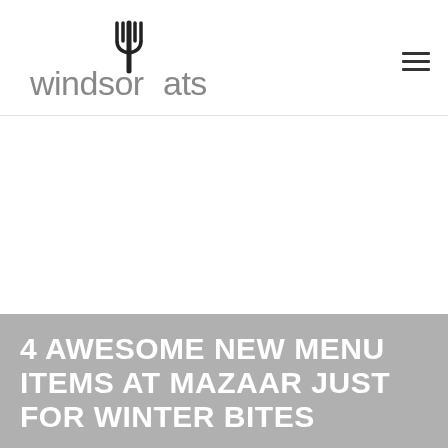windsoreats
[Figure (other): White advertisement/blank area below header]
4 AWESOME NEW MENU ITEMS AT MAZAAR JUST FOR WINTER BITES